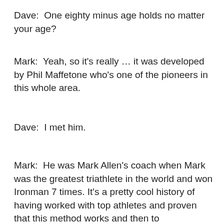Dave:  One eighty minus age holds no matter your age?
Mark:  Yeah, so it's really … it was developed by Phil Maffetone who's one of the pioneers in this whole area.
Dave:  I met him.
Mark:  He was Mark Allen's coach when Mark was the greatest triathlete in the world and won Ironman 7 times. It's a pretty cool history of having worked with top athletes and proven that this method works and then to